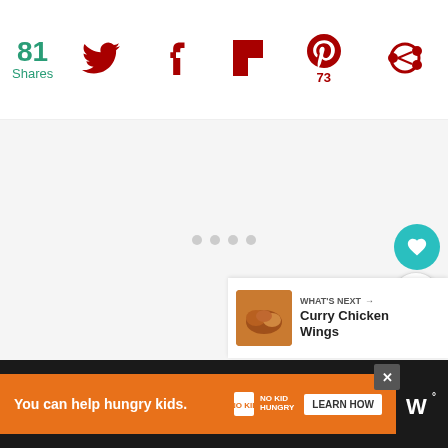[Figure (screenshot): Social sharing toolbar showing 81 Shares count in teal, Twitter bird icon, Facebook f icon, Flipboard icon, Pinterest icon with 73 count, and a share/circle icon — all in dark red]
[Figure (screenshot): Main content area with light gray background and loading dots indicator in center]
[Figure (screenshot): Floating teal heart/like button and white share button on right side]
[Figure (screenshot): What's Next panel showing curry chicken wings thumbnail with label 'WHAT'S NEXT →' and title 'Curry Chicken Wings']
[Figure (screenshot): Bottom ad bar on dark background: orange banner reading 'You can help hungry kids.' with No Kid Hungry logo and LEARN HOW button, plus close X button; brand watermark W° on right]